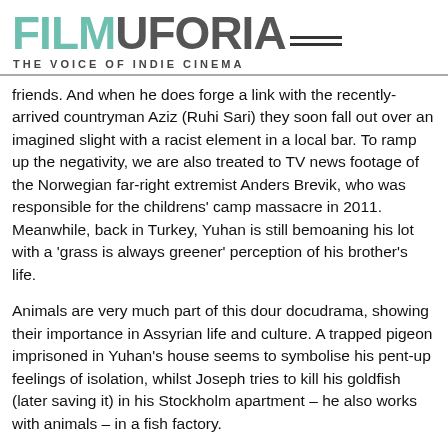FILMUFORIA — THE VOICE OF INDIE CINEMA
friends. And when he does forge a link with the recently-arrived countryman Aziz (Ruhi Sari) they soon fall out over an imagined slight with a racist element in a local bar. To ramp up the negativity, we are also treated to TV news footage of the Norwegian far-right extremist Anders Brevik, who was responsible for the childrens' camp massacre in 2011. Meanwhile, back in Turkey, Yuhan is still bemoaning his lot with a 'grass is always greener' perception of his brother's life.
Animals are very much part of this dour docudrama, showing their importance in Assyrian life and culture. A trapped pigeon imprisoned in Yuhan's house seems to symbolise his pent-up feelings of isolation, whilst Joseph tries to kill his goldfish (later saving it) in his Stockholm apartment – he also works with animals – in a fish factory.
GONE is filled with mournful images and utter desperation. While the Assyrians' struggle certainly merits representation